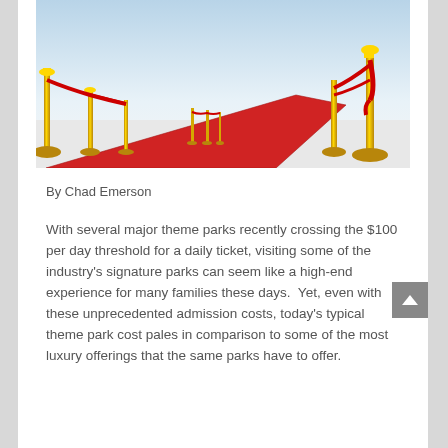[Figure (photo): Red carpet with gold stanchions and red velvet ropes extending into the distance against a light background]
By Chad Emerson
With several major theme parks recently crossing the $100 per day threshold for a daily ticket, visiting some of the industry's signature parks can seem like a high-end experience for many families these days.  Yet, even with these unprecedented admission costs, today's typical theme park cost pales in comparison to some of the most luxury offerings that the same parks have to offer.